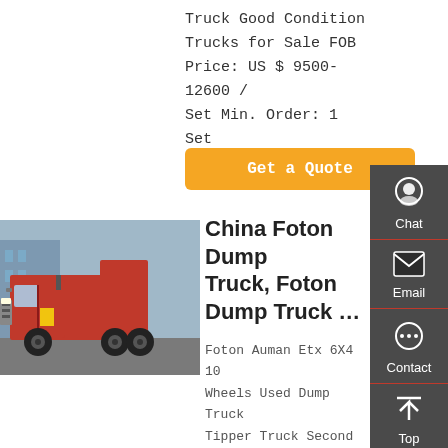Truck Good Condition Trucks for Sale FOB Price: US $ 9500-12600 / Set Min. Order: 1 Set
Get a Quote
[Figure (photo): Red Foton dump truck parked outdoors]
China Foton Dump Truck, Foton Dump Truck …
Foton Auman Etx 6X4 10 Wheels Used Dump Truck Tipper Truck Second Hand Truck Good Condition Trucks for Sale FOB
[Figure (infographic): Right sidebar with Chat, Email, Contact, and Top navigation icons on dark grey background]